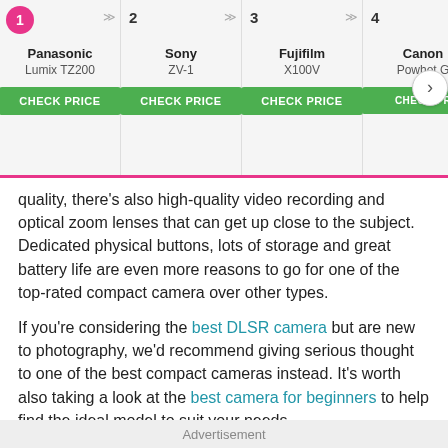[Figure (infographic): Product comparison bar showing 4 ranked cameras: 1) Panasonic Lumix TZ200, 2) Sony ZV-1, 3) Fujifilm X100V, 4) Canon PowerShot G (partially visible). Each has a CHECK PRICE green button. Navigation arrow on right.]
quality, there's also high-quality video recording and optical zoom lenses that can get up close to the subject. Dedicated physical buttons, lots of storage and great battery life are even more reasons to go for one of the top-rated compact camera over other types.
If you're considering the best DLSR camera but are new to photography, we'd recommend giving serious thought to one of the best compact cameras instead. It's worth also taking a look at the best camera for beginners to help find the ideal model to suit your needs.
Advertisement